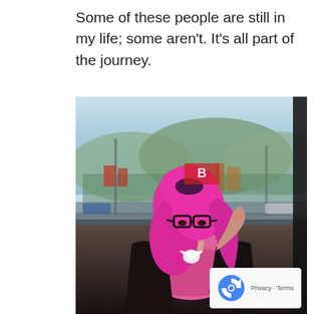Some of these people are still in my life; some aren't. It's all part of the journey.
[Figure (photo): A woman with long bright pink/magenta hair, wearing black-rimmed glasses, a pink top, and a black sequined jacket. She is touching her hair with one hand and looking downward. She is standing on what appears to be a rooftop or balcony with a cityscape and hills in the background. She wears a white pegasus/unicorn necklace.]